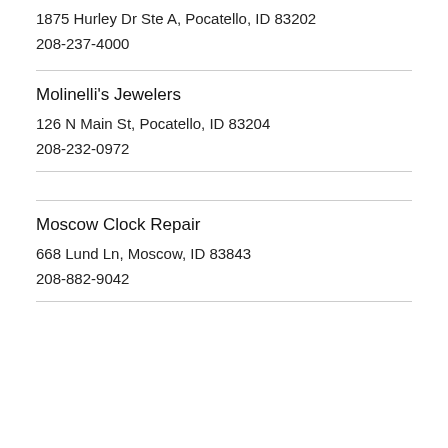1875 Hurley Dr Ste A, Pocatello, ID 83202
208-237-4000
Molinelli's Jewelers
126 N Main St, Pocatello, ID 83204
208-232-0972
Moscow Clock Repair
668 Lund Ln, Moscow, ID 83843
208-882-9042